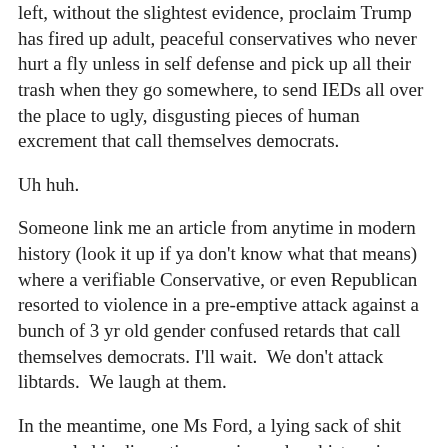left, without the slightest evidence, proclaim Trump has fired up adult, peaceful conservatives who never hurt a fly unless in self defense and pick up all their trash when they go somewhere, to send IEDs all over the place to ugly, disgusting pieces of human excrement that call themselves democrats.
Uh huh.
Someone link me an article from anytime in modern history (look it up if ya don't know what that means) where a verifiable Conservative, or even Republican resorted to violence in a pre-emptive attack against a bunch of 3 yr old gender confused retards that call themselves democrats. I'll wait. We don't attack libtards. We laugh at them.
In the meantime, one Ms Ford, a lying sack of shit unequaled in disgustingness in modern history is being given awards for telling a story about a Supreme Court Nominee with an impeccable record about an event where